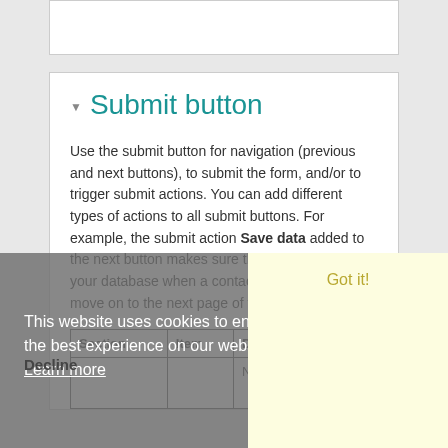Submit button
Use the submit button for navigation (previous and next buttons), to submit the form, and/or to trigger submit actions. You can add different types of actions to all submit buttons. For example, the submit action Save data added to the next button makes sure the data is saved to your database when a contact clicks Next to move on to the next page of the form.
| Section | Item | Description |
| --- | --- | --- |
|  |  | Name the but |
This website uses cookies to ensure you get the best experience on our website. Learn more
Decline
Got it!